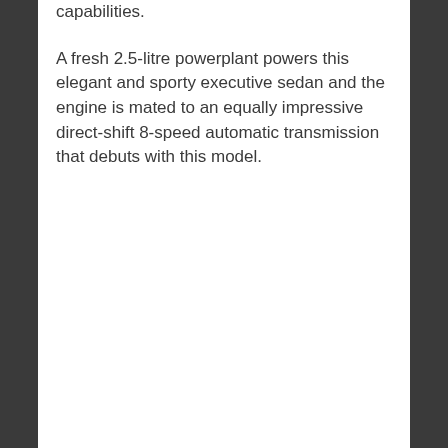capabilities.
A fresh 2.5-litre powerplant powers this elegant and sporty executive sedan and the engine is mated to an equally impressive direct-shift 8-speed automatic transmission that debuts with this model.